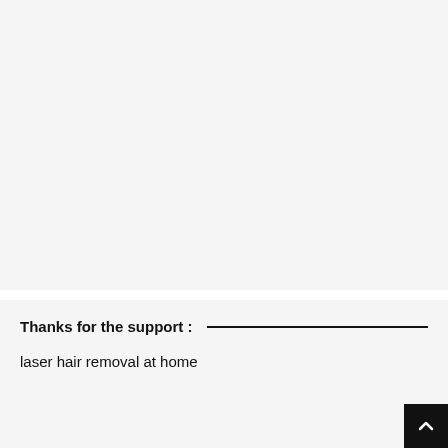[Figure (other): Large light gray empty rectangle area at the top of the page]
Thanks for the support :
laser hair removal at home